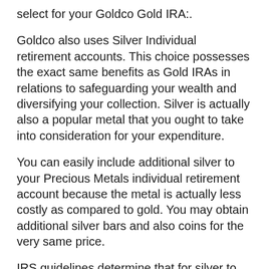select for your Goldco Gold IRA:.
Goldco also uses Silver Individual retirement accounts. This choice possesses the exact same benefits as Gold IRAs in relations to safeguarding your wealth and diversifying your collection. Silver is actually also a popular metal that you ought to take into consideration for your expenditure.
You can easily include additional silver to your Precious Metals individual retirement account because the metal is actually less costly as compared to gold. You may obtain additional silver bars and also coins for the very same price.
IRS guidelines determine that for silver to